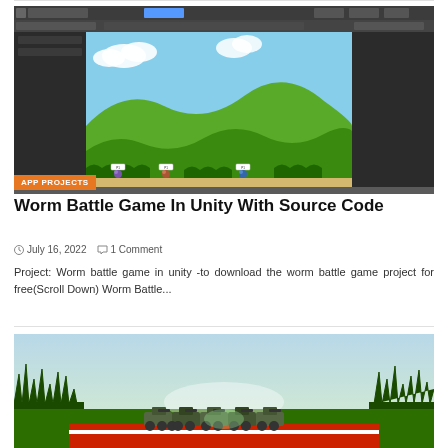[Figure (screenshot): Unity game editor screenshot showing a 2D worm battle game with green hills, blue sky, and small worm characters on a sandy terrain]
APP PROJECTS
Worm Battle Game In Unity With Source Code
July 16, 2022   1 Comment
Project: Worm battle game in unity -to download the worm battle game project for free(Scroll Down) Worm Battle...
[Figure (screenshot): Game screenshot showing tanks lined up on a green race track with dark grass on sides and a light blue sky]